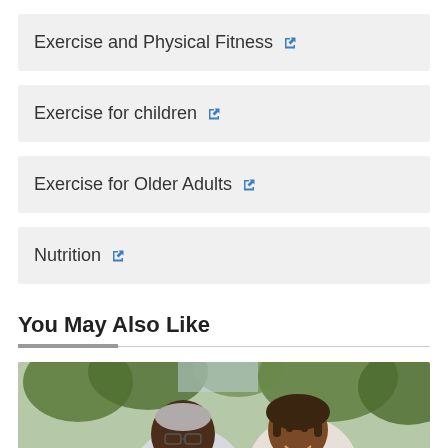Exercise and Physical Fitness
Exercise for children
Exercise for Older Adults
Nutrition
You May Also Like
[Figure (photo): Two smiling older adults, a man with gray hair and glasses and a woman with locs, photographed outdoors with green trees in the background]